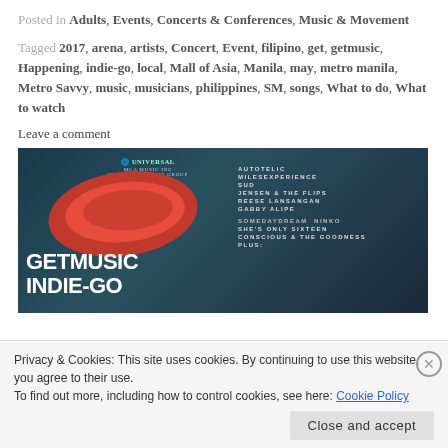Posted in Adults, Events, Concerts & Conferences, Music & Movement
Tagged 2017, arena, artists, Concert, Event, filipino, get, getmusic, Happening, indie-go, local, Mall of Asia, Manila, may, metro manila, Metro Savvy, music, musicians, philippines, SM, songs, What to do, What to watch
Leave a comment
[Figure (photo): Event poster for GetMusic Indie-Go concert featuring Universal/MCA Music Inc branding. Artists listed include AUTOTELIC, MILESEXPERIENCE, SUD, JENSEN & THE FLIPS, REESE LANSANGAN, GABBY ALIPE, SOMEDAYDREAM, NINKO, SHE'S ONLY SIXTEEN, CONSCIOUS & THE GOODNESS, PLUS more. Large red brush stroke design with white text GETMUSIC INDIE-GO on dark teal/navy background.]
Privacy & Cookies: This site uses cookies. By continuing to use this website, you agree to their use.
To find out more, including how to control cookies, see here: Cookie Policy
Close and accept